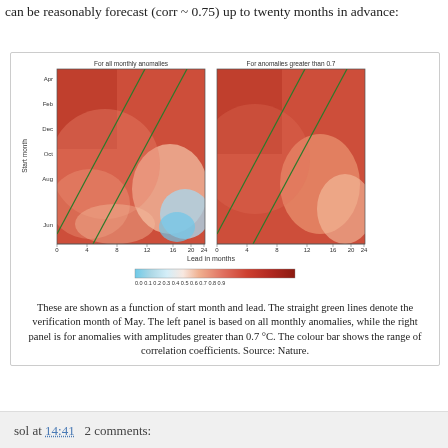can be reasonably forecast (corr ~ 0.75) up to twenty months in advance:
[Figure (continuous-plot): Two side-by-side contour/heatmap plots showing correlation coefficients as a function of start month (y-axis: Jun to Apr) and lead in months (x-axis: 0 to 24). Left panel titled 'For all monthly anomalies', right panel titled 'For anomalies greater than 0.7'. Both panels show diagonal green lines denoting the verification month of May. Colour ranges from blue (low correlation ~0.0-0.1) through light/white to red (high correlation ~0.8-0.9). A colour bar at the bottom shows the range of correlation coefficients from approximately 0.0 to 0.9.]
These are shown as a function of start month and lead. The straight green lines denote the verification month of May. The left panel is based on all monthly anomalies, while the right panel is for anomalies with amplitudes greater than 0.7 °C. The colour bar shows the range of correlation coefficients. Source: Nature.
sol at 14:41   2 comments: